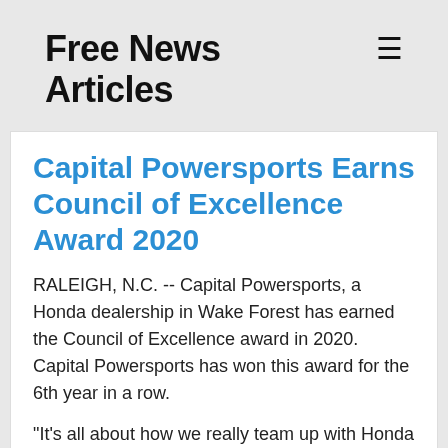Free News Articles
Capital Powersports Earns Council of Excellence Award 2020
RALEIGH, N.C. -- Capital Powersports, a Honda dealership in Wake Forest has earned the Council of Excellence award in 2020. Capital Powersports has won this award for the 6th year in a row.
"It's all about how we really team up with Honda in our finance services," said Matt Duffy, Finance Manager. "Everybody wants a cool, reliable Honda Motorcycle, Side by Side, or ATV. But can they get it? Well, that's where our financial team always helps go to that next level and that's being recognized for that."